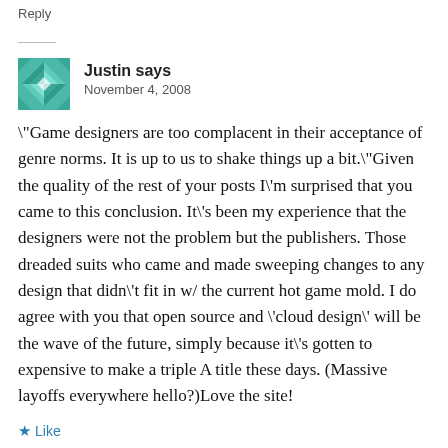Reply
Justin says
November 4, 2008
\"Game designers are too complacent in their acceptance of genre norms. It is up to us to shake things up a bit.\"Given the quality of the rest of your posts I\'m surprised that you came to this conclusion. It\'s been my experience that the designers were not the problem but the publishers. Those dreaded suits who came and made sweeping changes to any design that didn\'t fit in w/ the current hot game mold. I do agree with you that open source and \'cloud design\' will be the wave of the future, simply because it\'s gotten to expensive to make a triple A title these days. (Massive layoffs everywhere hello?)Love the site!
★ Like